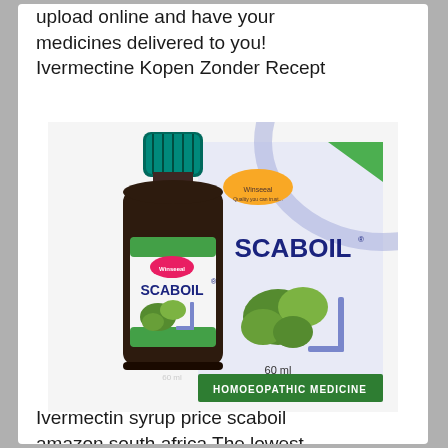upload online and have your medicines delivered to you! Ivermectine Kopen Zonder Recept
[Figure (photo): Product photo of Scaboil homoeopathic medicine - a dark glass bottle (60ml) with green cap and white label showing SCABOIL branding, alongside its packaging box also labeled SCABOIL 60ml Homoeopathic Medicine by Winseeal brand]
Ivermectin syrup price scaboil amazon south africa The lowest